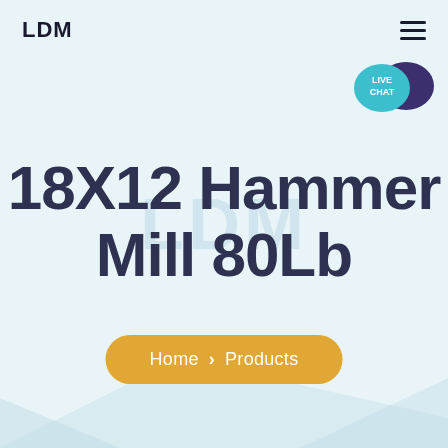LDM
[Figure (screenshot): Live chat bubble icon in teal and dark purple in the upper right corner]
18X12 Hammer Mill 80Lb
Home > Products